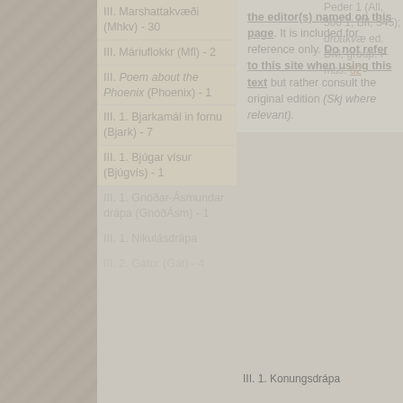III. Marshattakvæði (Mhkv) - 30
III. Máriuflokkr (Mfl) - 2
III. Poem about the Phoenix (Phoenix) - 1
III. 1. Bjarkamál in fornu (Bjark) - 7
III. 1. Bjúgar vísur (Bjúgvís) - 1
III. 1. Gnóðar-Ásmundar drápa (GnóðÁsm) - 1
III. 1. Nikulásdrápa
III. 2. Gátur (Gát) - 4
the editor(s) named on this page. It is included for reference only. Do not refer to this site when using this text but rather consult the original edition (Skj where relevant).
Cookies on our website
We use cookies on this website, mainly to provide a secure browsing experience but also to collect statistics on how the website is used. You can find out more about the cookies we set, the information we store and how we use it on the cookies page.
Continue
III. 1. Konungsdrápa
IV. Barðardrápa (Baradr) - 1
IV. Hafgerðingadrápa
Orð satt upphafs gjörði eitt næst stafi hæsta:
gjörði alt með orði itr guð stórt ok lítit, orð vár sent, en særðiz sonr, mey guðs, at deyja.
Peder 1 (All, 500 1; BII, 545); dróttkvæ ed. DM; group: F mss: 62